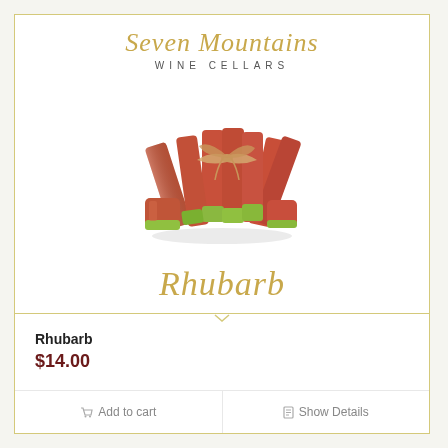Seven Mountains WINE CELLARS
[Figure (photo): Bundle of fresh rhubarb stalks tied with twine, cut into pieces, on white background]
Rhubarb
Rhubarb
$14.00
Add to cart
Show Details